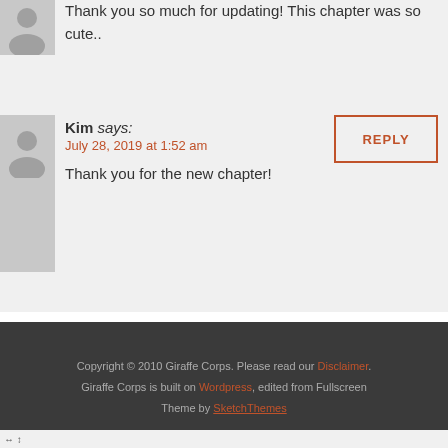Thank you so much for updating! This chapter was so cute..
Kim says:
July 28, 2019 at 1:52 am
Thank you for the new chapter!
Copyright © 2010 Giraffe Corps. Please read our Disclaimer.
Giraffe Corps is built on Wordpress, edited from Fullscreen Theme by SketchThemes